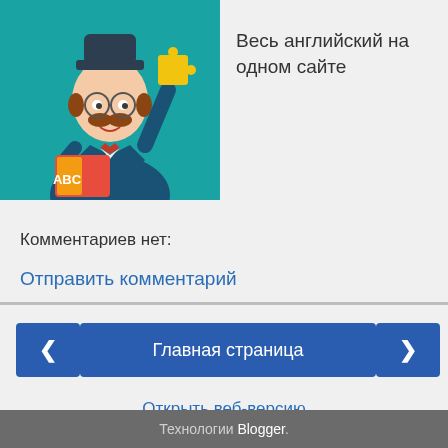[Figure (illustration): Cartoon character of a mustachioed professor with glasses holding an ABC book and a puzzle piece, on teal background]
Весь английский на одном сайте
Комментариев нет:
Отправить комментарий
Главная страница
Открыть веб-версию
Технологии Blogger.